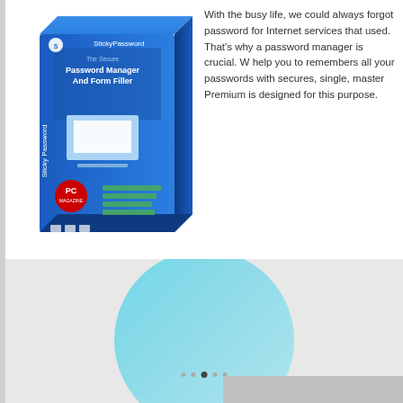[Figure (illustration): Sticky Password product box showing blue packaging with 'The Secure Password Manager And Form Filler' text and PC Magazine logo]
With the busy life, we could always forgot password for Internet services that used. That's why a password manager is crucial. W help you to remembers all your passwords with secures, single, master Premium is designed for this purpose.
Sticky Password is an awesome password management software that d identity by providing strong encrypted passwords for all password accou master password. This password management software could autofill a web. In addition, Sticky Password able to syncs password database bet Fi to effectively keep passwords out of the cloud.
[Figure (screenshot): Screenshot area showing a partial view with a teal/cyan circular shape and a laptop interface element with navigation dots at the bottom]